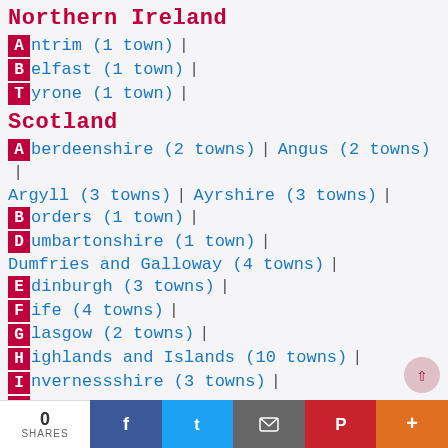Northern Ireland
Antrim (1 town) |
Belfast (1 town) |
Tyrone (1 town) |
Scotland
Aberdeenshire (2 towns) | Angus (2 towns) | Argyll (3 towns) | Ayrshire (3 towns) |
Borders (1 town) |
Dumbartonshire (1 town) |
Dumfries and Galloway (4 towns) |
Edinburgh (3 towns) |
Fife (4 towns) |
Glasgow (2 towns) |
Highlands and Islands (10 towns) |
Invernessshire (3 towns) |
0 SHARES | Share on Facebook | Share on Twitter | Email | Pinterest | More